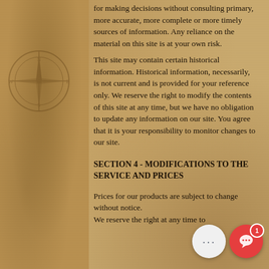for making decisions without consulting primary, more accurate, more complete or more timely sources of information. Any reliance on the material on this site is at your own risk.
This site may contain certain historical information. Historical information, necessarily, is not current and is provided for your reference only. We reserve the right to modify the contents of this site at any time, but we have no obligation to update any information on our site. You agree that it is your responsibility to monitor changes to our site.
SECTION 4 - MODIFICATIONS TO THE SERVICE AND PRICES
Prices for our products are subject to change without notice.
We reserve the right at any time to